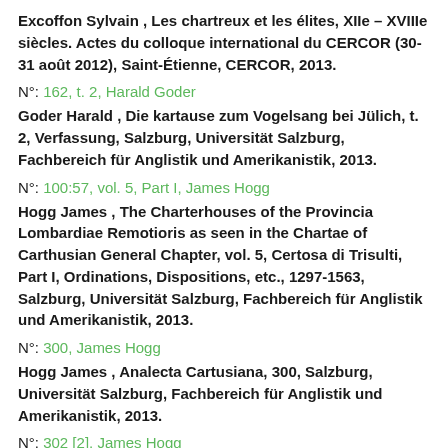Excoffon Sylvain , Les chartreux et les élites, XIIe – XVIIIe siècles. Actes du colloque international du CERCOR (30-31 août 2012), Saint-Étienne, CERCOR, 2013.
N°: 162, t. 2, Harald Goder
Goder Harald , Die kartause zum Vogelsang bei Jülich, t. 2, Verfassung, Salzburg, Universität Salzburg, Fachbereich für Anglistik und Amerikanistik, 2013.
N°: 100:57, vol. 5, Part I, James Hogg
Hogg James , The Charterhouses of the Provincia Lombardiae Remotioris as seen in the Chartae of Carthusian General Chapter, vol. 5, Certosa di Trisulti, Part I, Ordinations, Dispositions, etc., 1297-1563, Salzburg, Universität Salzburg, Fachbereich für Anglistik und Amerikanistik, 2013.
N°: 300, James Hogg
Hogg James , Analecta Cartusiana, 300, Salzburg, Universität Salzburg, Fachbereich für Anglistik und Amerikanistik, 2013.
N°: 302 [2], James Hogg